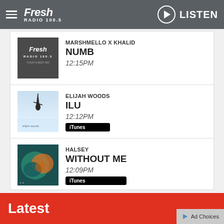Fresh Radio 100.5 — LISTEN
[Figure (logo): Fresh Radio 100.5 album art placeholder - dark grey with Fresh Radio 100.5 Today's Best Mix logo]
MARSHMELLO X KHALID — NUMB — 12:15PM
[Figure (photo): Elijah Woods ILU album art - figure falling through sky]
ELIJAH WOODS — ILU — 12:12PM — iTunes
[Figure (photo): Halsey Without Me album art - teal/orange abstract]
HALSEY — WITHOUT ME — 12:09PM — iTunes
View Full Playlist →
Latest
Ad Choices